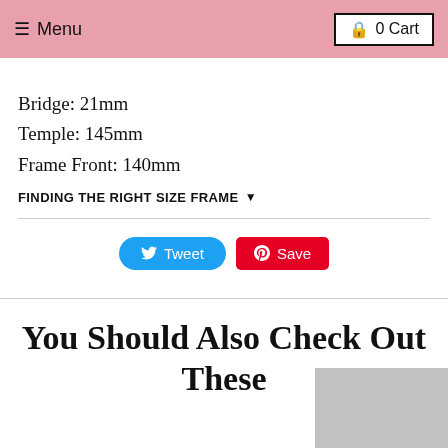☰ Menu | 🔒 0 Cart
Bridge: 21mm
Temple: 145mm
Frame Front: 140mm
FINDING THE RIGHT SIZE FRAME ▾
Tweet  Save
You Should Also Check Out These
[Figure (photo): Thumbnail of eyeglasses product image, partially visible at bottom right]